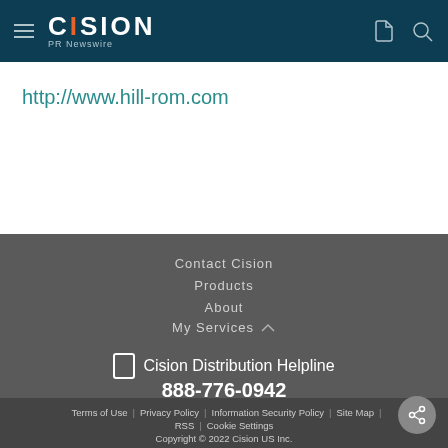Cision PR Newswire
http://www.hill-rom.com
Contact Cision
Products
About
My Services
Cision Distribution Helpline 888-776-0942
Terms of Use | Privacy Policy | Information Security Policy | Site Map | RSS | Cookie Settings Copyright © 2022 Cision US Inc.